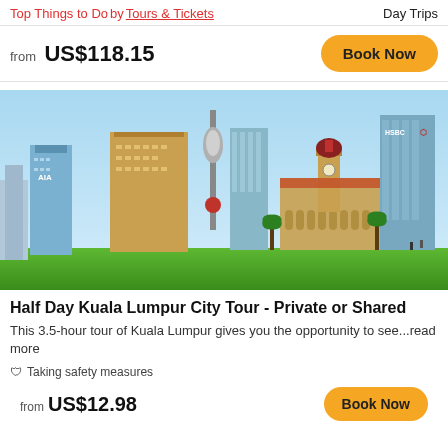Top Things to Do by Tours & Tickets   Day Trips
from US$118.15
[Figure (photo): Kuala Lumpur city skyline with Sultan Abdul Samad Building, KL Tower, and modern skyscrapers including HSBC and AIA buildings, with green lawn in foreground]
Half Day Kuala Lumpur City Tour - Private or Shared
This 3.5-hour tour of Kuala Lumpur gives you the opportunity to see...read more
🛡 Taking safety measures
from US$12.98